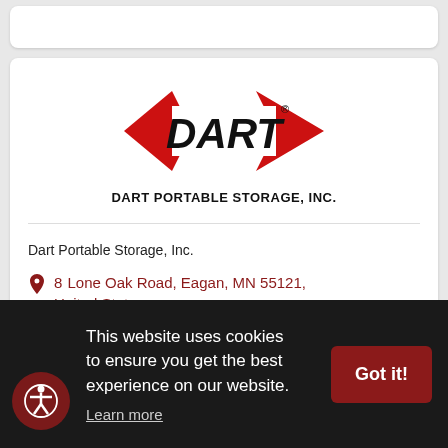[Figure (logo): Dart Portable Storage Inc. logo with red diamond shape and bold DART text]
DART PORTABLE STORAGE, INC.
Dart Portable Storage, Inc.
8 Lone Oak Road, Eagan, MN 55121, United States
This website uses cookies to ensure you get the best experience on our website.
Learn more
Got it!